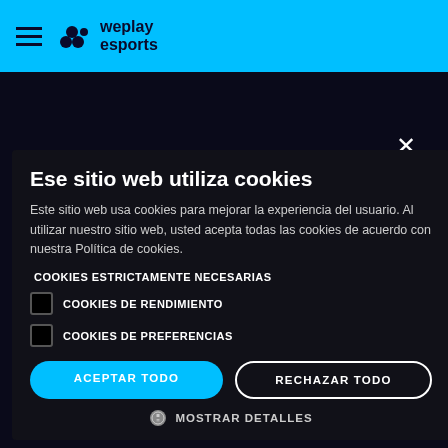weplay esports
[Figure (screenshot): WePlay Esports website with cookie consent modal dialog overlay on dark background]
Ese sitio web utiliza cookies
Este sitio web usa cookies para mejorar la experiencia del usuario. Al utilizar nuestro sitio web, usted acepta todas las cookies de acuerdo con nuestra Política de cookies.
COOKIES ESTRICTAMENTE NECESARIAS
COOKIES DE RENDIMIENTO
COOKIES DE PREFERENCIAS
ACEPTAR TODO
RECHAZAR TODO
MOSTRAR DETALLES